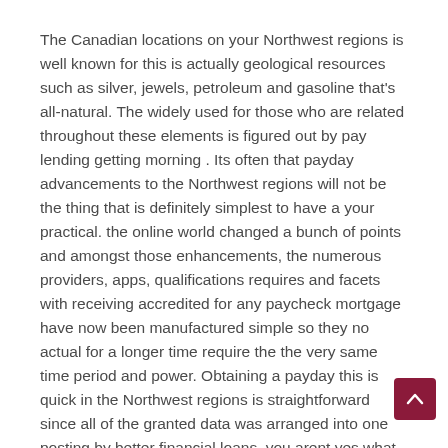The Canadian locations on your Northwest regions is well known for this is actually geological resources such as silver, jewels, petroleum and gasoline that's all-natural. The widely used for those who are related throughout these elements is figured out by pay lending getting morning . Its often that payday advancements to the Northwest regions will not be the thing that is definitely simplest to have a your practical. the online world changed a bunch of points and amongst those enhancements, the numerous providers, apps, qualifications requires and facets with receiving accredited for any paycheck mortgage have now been manufactured simple so they no actual for a longer time require the the very same time period and power. Obtaining a payday this is quick in the Northwest regions is straightforward since all of the granted data was arranged into one posting by better financial loans. you arent yes what a advance funding might put, it refer to pay out day financial loans and finance the identity.